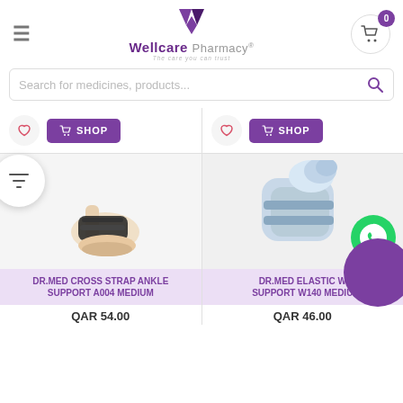[Figure (logo): Wellcare Pharmacy logo with purple W icon and tagline]
Search for medicines, products...
[Figure (screenshot): Two product cards showing shop buttons and heart/wishlist buttons at top]
[Figure (photo): DR.MED Cross Strap Ankle Support A004 Medium - ankle brace product photo]
DR.MED CROSS STRAP ANKLE SUPPORT A004 MEDIUM
QAR 54.00
[Figure (photo): DR.MED Elastic Wrist Support W140 Medium - wrist brace product photo]
DR.MED ELASTIC W... SUPPORT W140 MEDIU...
QAR 46.00